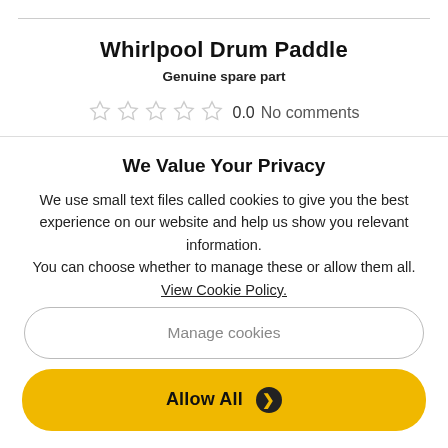Whirlpool Drum Paddle
Genuine spare part
0.0  No comments
We Value Your Privacy
We use small text files called cookies to give you the best experience on our website and help us show you relevant information.
You can choose whether to manage these or allow them all.
View Cookie Policy.
Manage cookies
Allow All